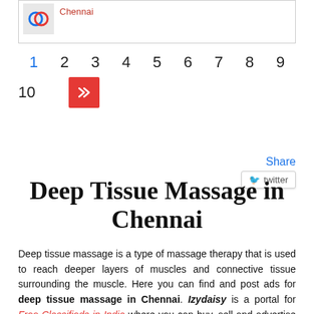[Figure (screenshot): Top listing card with logo image and Chennai text in red]
1 2 3 4 5 6 7 8 9 10 >> (pagination navigation)
Share
Deep Tissue Massage in Chennai
Deep tissue massage is a type of massage therapy that is used to reach deeper layers of muscles and connective tissue surrounding the muscle. Here you can find and post ads for deep tissue massage in Chennai. Izydaisy is a portal for Free Classifieds in India where you can buy, sell and advertise anything.